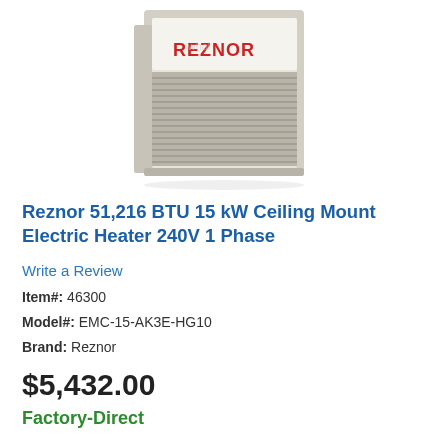[Figure (photo): Product photo of a Reznor ceiling mount electric heater unit, beige/tan colored with horizontal ventilation grille slats and REZNOR brand name in red letters on the front panel.]
Reznor 51,216 BTU 15 kW Ceiling Mount Electric Heater 240V 1 Phase
Write a Review
Item#: 46300
Model#: EMC-15-AK3E-HG10
Brand: Reznor
$5,432.00
Factory-Direct